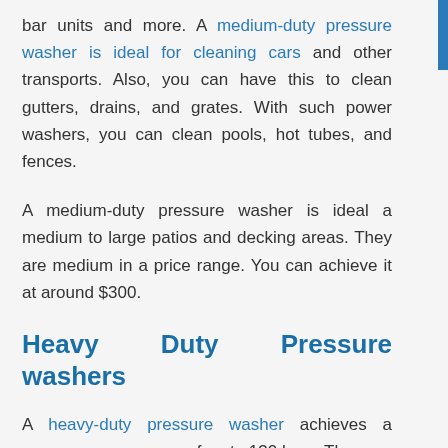bar units and more. A medium-duty pressure washer is ideal for cleaning cars and other transports. Also, you can have this to clean gutters, drains, and grates. With such power washers, you can clean pools, hot tubes, and fences.
A medium-duty pressure washer is ideal a medium to large patios and decking areas. They are medium in a price range. You can achieve it at around $300.
Heavy Duty Pressure washers
A heavy-duty pressure washer achieves a pressure spray range of up to 130 bars. The